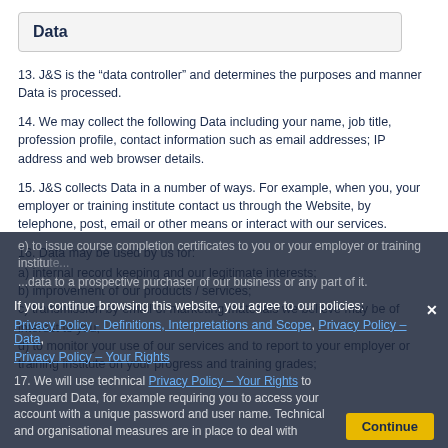Data
13. J&S is the “data controller” and determines the purposes and manner Data is processed.
14. We may collect the following Data including your name, job title, profession profile, contact information such as email addresses; IP address and web browser details.
15. J&S collects Data in a number of ways. For example, when you, your employer or training institute contact us through the Website, by telephone, post, email or other means or interact with our services.
16. Data may be used by us for:
a) internal record keeping and our legitimate interests;
b) improvement of our products / services;
c) transmission by email of marketing materials we believe may be of interest to you;
d) to monitor your use of our services and to report to your employer or training institute on your progress and training grades;
e) to issue course completion certificates to you or your employer or training institu...
...data to a prospective purchaser of our business or any part of it.
If you continue browsing this website, you agree to our policies: Privacy Policy - Definitions, Interpretations and Scope, Privacy Policy - Data, Privacy Policy - Your Rights
17. We will use technical ... to safeguard Data, for example requiring you to access your account with a unique password and user name. Technical and organisational measures are in place to deal with
Continue